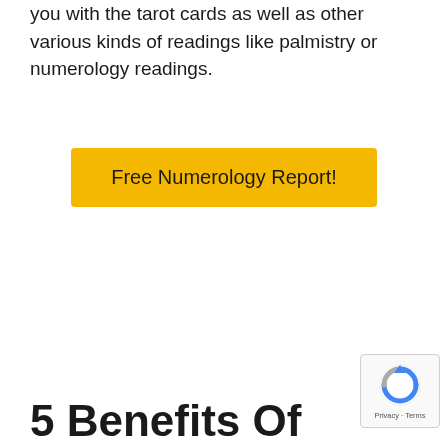you with the tarot cards as well as other various kinds of readings like palmistry or numerology readings.
[Figure (other): Yellow call-to-action button with text 'Free Numerology Report!']
5 Benefits Of
[Figure (other): reCAPTCHA privacy badge with spinning arrow icon and 'Privacy - Terms' text]